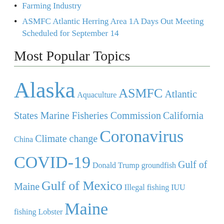Farming Industry
ASMFC Atlantic Herring Area 1A Days Out Meeting Scheduled for September 14
Most Popular Topics
Alaska Aquaculture ASMFC Atlantic States Marine Fisheries Commission California China Climate change Coronavirus COVID-19 Donald Trump groundfish Gulf of Maine Gulf of Mexico Illegal fishing IUU fishing Lobster Maine Massachusetts Mid-Atlantic National Marine Fisheries Service National Oceanic and